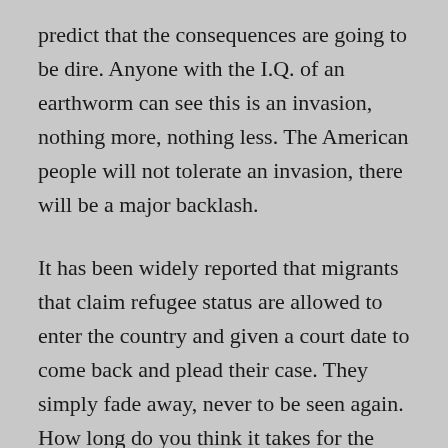predict that the consequences are going to be dire. Anyone with the I.Q. of an earthworm can see this is an invasion, nothing more, nothing less. The American people will not tolerate an invasion, there will be a major backlash.

It has been widely reported that migrants that claim refugee status are allowed to enter the country and given a court date to come back and plead their case. They simply fade away, never to be seen again. How long do you think it takes for the word to get around that breaking into the United States is a piece of cake. There are over 350,000 pending cases in the immigration courts at present, and nobody knows where the plaintiffs are. They just simply vanished. What do you think will happen when that number reaches 1,350,000? It will